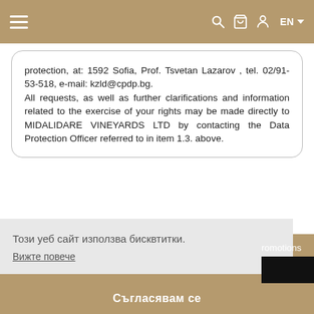[Figure (screenshot): Website navigation bar with hamburger menu, search, cart, user icons, and EN language selector on tan/gold background]
protection, at: 1592 Sofia, Prof. Tsvetan Lazarov , tel. 02/91-53-518, e-mail: kzld@cpdp.bg.
All requests, as well as further clarifications and information related to the exercise of your rights may be made directly to MIDALIDARE VINEYARDS LTD by contacting the Data Protection Officer referred to in item 1.3. above.
Този уеб сайт използва бисквтитки.
Вижте повече
romotions
Съгласявам се